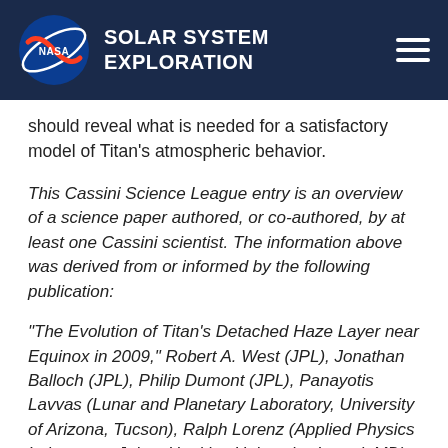NASA SOLAR SYSTEM EXPLORATION
should reveal what is needed for a satisfactory model of Titan's atmospheric behavior.
This Cassini Science League entry is an overview of a science paper authored, or co-authored, by at least one Cassini scientist. The information above was derived from or informed by the following publication:
"The Evolution of Titan's Detached Haze Layer near Equinox in 2009," Robert A. West (JPL), Jonathan Balloch (JPL), Philip Dumont (JPL), Panayotis Lavvas (Lunar and Planetary Laboratory, University of Arizona, Tucson), Ralph Lorenz (Applied Physics Laboratory, Johns Hopkins University, Laurel, MD), Pascal Rannou (GSMA, UMR CNRS 6089, Université